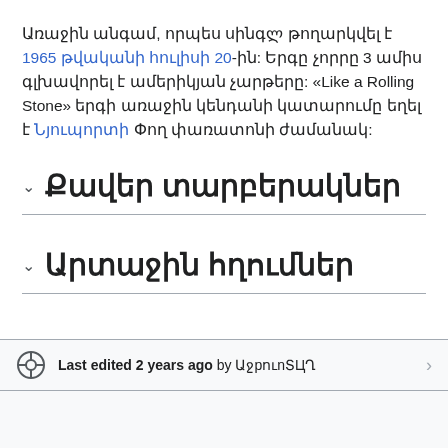Առաջին անգամ, որպես սինգլ թողարկվել է 1965 թվականի հուլիսի 20-ին: Երգը չորրը 3 ամիս գլխավորել է ամերիկյան չարթերը: «Like a Rolling Stone» երգի առաջին կենդանի կատարումը եղել է Նյուպորտի Փող փառատոնի ժամանակ:
Քավեր տարբերակներ
Արտաջին հղումներ
Last edited 2 years ago by ԱջpուnՏЦՂ